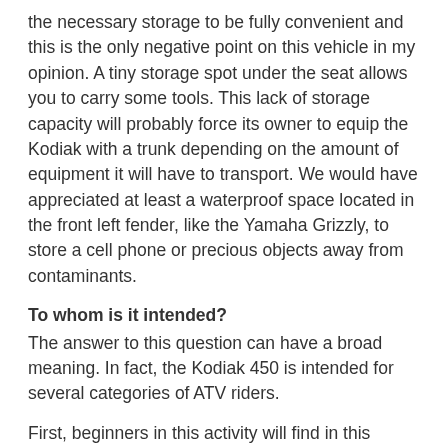the necessary storage to be fully convenient and this is the only negative point on this vehicle in my opinion. A tiny storage spot under the seat allows you to carry some tools. This lack of storage capacity will probably force its owner to equip the Kodiak with a trunk depending on the amount of equipment it will have to transport. We would have appreciated at least a waterproof space located in the front left fender, like the Yamaha Grizzly, to store a cell phone or precious objects away from contaminants.
To whom is it intended?
The answer to this question can have a broad meaning. In fact, the Kodiak 450 is intended for several categories of ATV riders.
First, beginners in this activity will find in this model an ATV that will give them confidence during repeated outings. Its mid-size dimensions and engine offer adequate power and easy handling to build confidence in the uninitiated.